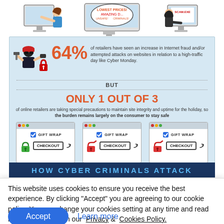[Figure (infographic): Infographic about cyber security and online shopping fraud. Shows 64% of retailers have seen internet fraud increase on high-traffic days like Cyber Monday, but only 1 out of 3 online retailers take special precautions. Three checkout screen illustrations show safe and unsafe padlock icons. Dark blue bar at bottom partially visible reading 'HOW CYBER CRIMINALS ATTACK'. Top portion shows illustrated scenes of hackers and online criminals.]
This website uses cookies to ensure you receive the best experience. By clicking "Accept" you are agreeing to our cookie policy. You can change your cookies setting at any time and read how we use them in our Privacy & Cookies Policy.
Accept
Learn more